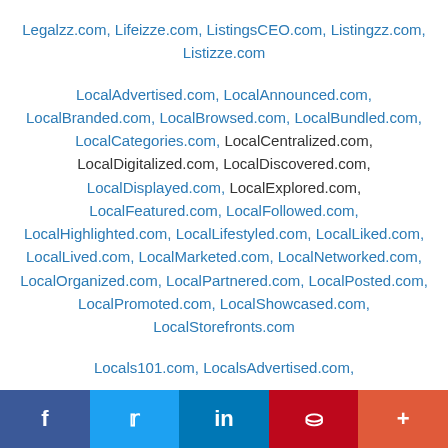Legalzz.com, Lifeizze.com, ListingsCEO.com, Listingzz.com, Listizze.com
LocalAdvertised.com, LocalAnnounced.com, LocalBranded.com, LocalBrowsed.com, LocalBundled.com, LocalCategories.com, LocalCentralized.com, LocalDigitalized.com, LocalDiscovered.com, LocalDisplayed.com, LocalExplored.com, LocalFeatured.com, LocalFollowed.com, LocalHighlighted.com, LocalLifestyled.com, LocalLiked.com, LocalLived.com, LocalMarketed.com, LocalNetworked.com, LocalOrganized.com, LocalPartnered.com, LocalPosted.com, LocalPromoted.com, LocalShowcased.com, LocalStorefronts.com
Locals101.com, LocalsAdvertised.com,
f  t  in  P  +